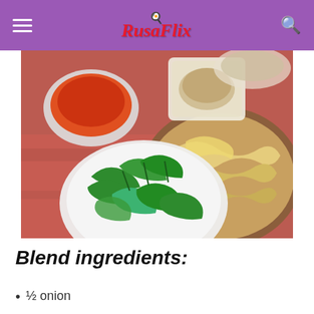RusaFlix
[Figure (photo): Overhead view of recipe ingredients: a bowl of red chili paste, a bowl of fresh green vegetables (likely water spinach/kangkung), a plate of fresh yellow egg noodles, and a bag of ground spices on a red patterned tablecloth.]
Blend ingredients:
½ onion